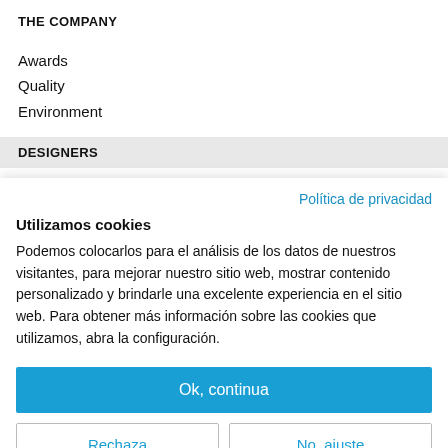THE COMPANY
Awards
Quality
Environment
DESIGNERS
Política de privacidad
Utilizamos cookies
Podemos colocarlos para el análisis de los datos de nuestros visitantes, para mejorar nuestro sitio web, mostrar contenido personalizado y brindarle una excelente experiencia en el sitio web. Para obtener más información sobre las cookies que utilizamos, abra la configuración.
Ok, continua
Rechaza
No, ajuste